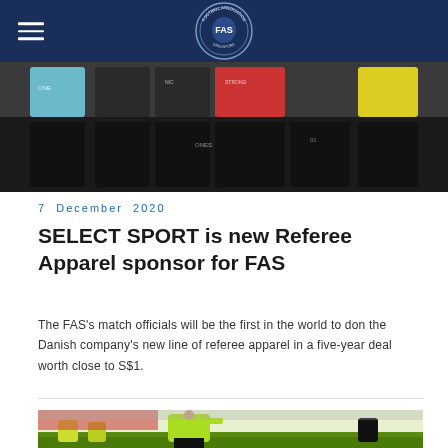FAS — Football Association of Singapore
[Figure (photo): Group photo of football match officials in colorful referee jerseys standing together]
7 December 2020
SELECT SPORT is new Referee Apparel sponsor for FAS
The FAS's match officials will be the first in the world to don the Danish company's new line of referee apparel in a five-year deal worth close to S$1.
[Figure (photo): Female referee in bright yellow-green jersey crouching on a football pitch]